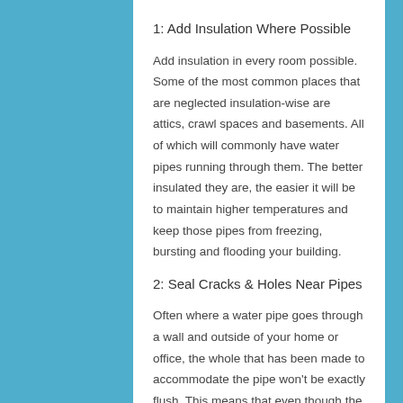1: Add Insulation Where Possible
Add insulation in every room possible. Some of the most common places that are neglected insulation-wise are attics, crawl spaces and basements. All of which will commonly have water pipes running through them. The better insulated they are, the easier it will be to maintain higher temperatures and keep those pipes from freezing, bursting and flooding your building.
2: Seal Cracks & Holes Near Pipes
Often where a water pipe goes through a wall and outside of your home or office, the whole that has been made to accommodate the pipe won't be exactly flush. This means that even though the gaps between the wall and the pipe may be very small, they still exist and are constantly leaving warm air out